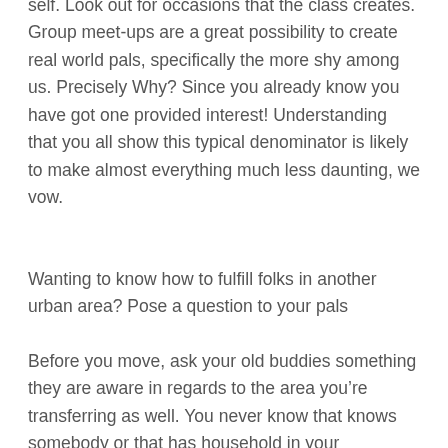self. Look out for occasions that the class creates. Group meet-ups are a great possibility to create real world pals, specifically the more shy among us. Precisely Why? Since you already know you have got one provided interest! Understanding that you all show this typical denominator is likely to make almost everything much less daunting, we vow.
Wanting to know how to fulfill folks in another urban area? Pose a question to your pals
Before you move, ask your old buddies something they are aware in regards to the area you’re transferring as well. You never know that knows somebody or that has household in your neighborhood. It’s likely you have a ton of associations your new home and you also you shouldn’t even comprehend it yet.
And when a buddy understands a person that is residing in your new area, then keep these things